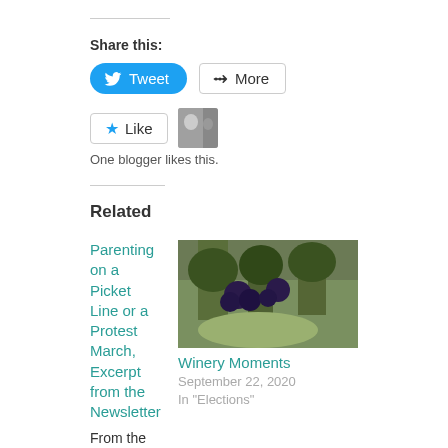Share this:
[Figure (screenshot): Tweet button (blue rounded) and More button (outlined) for sharing]
[Figure (screenshot): Like button with star icon and blogger avatar. Caption: One blogger likes this.]
One blogger likes this.
Related
Parenting on a Picket Line or a Protest March, Excerpt from the Newsletter
From the latest newsletter. Please subscribe. Growing
[Figure (photo): Photo of grapevines with dark grapes hanging, vineyard scene]
Winery Moments
September 22, 2020
In "Elections"